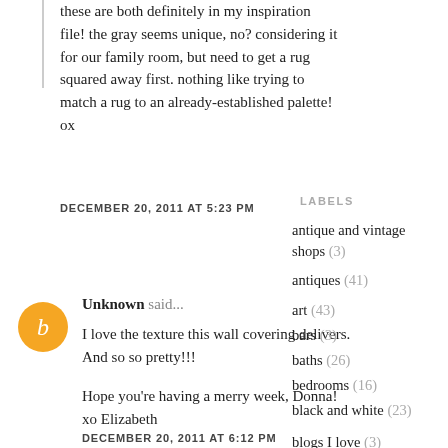these are both definitely in my inspiration file! the gray seems unique, no? considering it for our family room, but need to get a rug squared away first. nothing like trying to match a rug to an already-established palette! ox
DECEMBER 20, 2011 AT 5:23 PM
Unknown said...
I love the texture this wall covering delivers. And so so pretty!!!
Hope you're having a merry week, Donna!
xo Elizabeth
DECEMBER 20, 2011 AT 6:12 PM
LABELS
antique and vintage shops (3)
antiques (41)
art (43)
bars (3)
baths (26)
bedrooms (16)
black and white (23)
blogs I love (3)
bohemian (4)
books (6)
chandeliers (2)